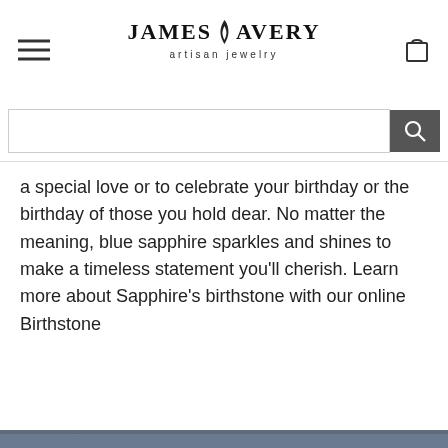[Figure (logo): James Avery artisan jewelry logo with flame icon]
[Figure (screenshot): Search bar with text input field and search button]
a special love or to celebrate your birthday or the birthday of those you hold dear. No matter the meaning, blue sapphire sparkles and shines to make a timeless statement you'll cherish. Learn more about Sapphire's birthstone with our online Birthstone
Never miss an email.
Be among the first to know about new catalogs, special events and fresh, new ways to wear your favorite designs.
[Figure (screenshot): Email signup form with Email Address input and Sign Up button]